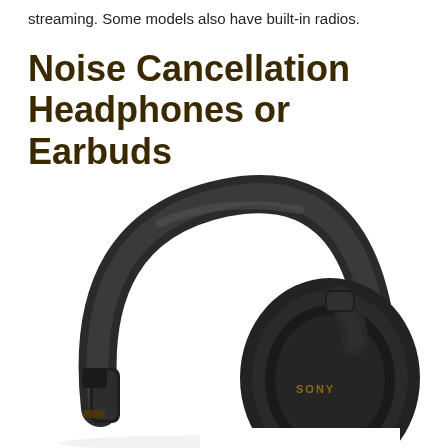streaming. Some models also have built-in radios.
Noise Cancellation Headphones or Earbuds
[Figure (photo): Close-up product photo of a black Sony over-ear noise cancellation headphone with bronze/copper SONY branding on the ear cup and a USB-C port visible on the bottom of the ear cup. The headphone is photographed on a white background showing the headband and right ear cup in detail.]